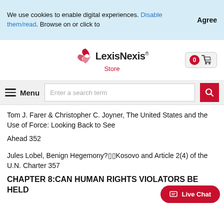We use cookies to enable digital experiences. Disable them/read. Browse on or click to
Agree
[Figure (logo): LexisNexis Store logo with red swoosh icon]
Menu
Enter a search term
Tom J. Farer & Christopher C. Joyner, The United States and the Use of Force: Looking Back to See
Ahead 352
Jules Lobel, Benign Hegemony?▯▯Kosovo and Article 2(4) of the U.N. Charter 357
CHAPTER 8:CAN HUMAN RIGHTS VIOLATORS BE HELD